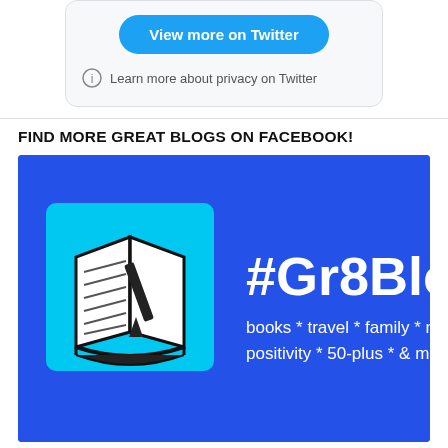[Figure (screenshot): Twitter widget with 'View more on Twitter' button and privacy notice]
FIND MORE GREAT BLOGS ON FACEBOOK!
[Figure (logo): #Gr8Blogs Facebook group promotional image with blue background, open book icon, hashtag Gr8Blogs text, and tagline: books * travel * family * nature positivity * 50-plus * & more]